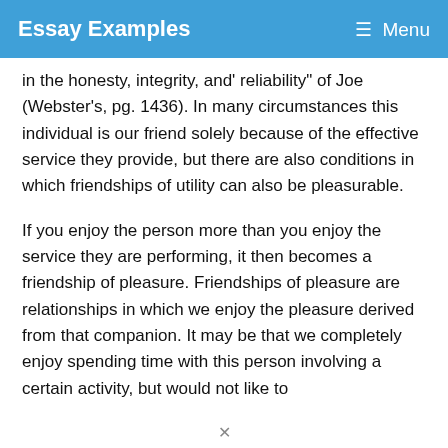Essay Examples   Menu
in the honesty, integrity, and' reliability" of Joe (Webster's, pg. 1436). In many circumstances this individual is our friend solely because of the effective service they provide, but there are also conditions in which friendships of utility can also be pleasurable.
If you enjoy the person more than you enjoy the service they are performing, it then becomes a friendship of pleasure. Friendships of pleasure are relationships in which we enjoy the pleasure derived from that companion. It may be that we completely enjoy spending time with this person involving a certain activity, but would not like to